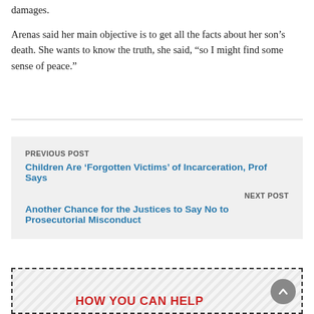damages.
Arenas said her main objective is to get all the facts about her son’s death. She wants to know the truth, she said, “so I might find some sense of peace.”
PREVIOUS POST
Children Are ‘Forgotten Victims’ of Incarceration, Prof Says
NEXT POST
Another Chance for the Justices to Say No to Prosecutorial Misconduct
HOW YOU CAN HELP